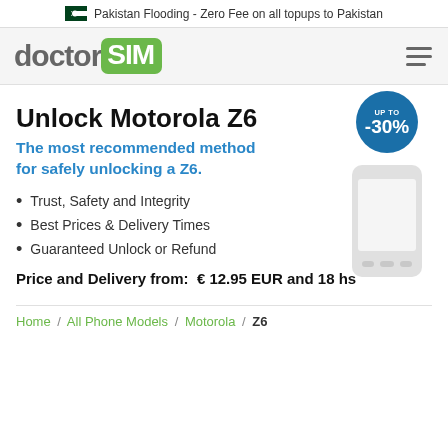Pakistan Flooding - Zero Fee on all topups to Pakistan
[Figure (logo): doctorSIM logo with 'doctor' in grey and 'SIM' in white on green rounded rectangle background]
Unlock Motorola Z6
The most recommended method for safely unlocking a Z6.
Trust, Safety and Integrity
Best Prices & Delivery Times
Guaranteed Unlock or Refund
Price and Delivery from:  € 12.95 EUR and 18 hs
Home / All Phone Models / Motorola / Z6